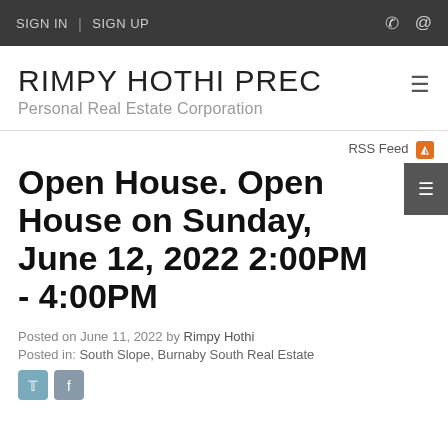SIGN IN  |  SIGN UP
RIMPY HOTHI PREC
Personal Real Estate Corporation
RSS Feed
Open House. Open House on Sunday, June 12, 2022 2:00PM - 4:00PM
Posted on June 11, 2022 by Rimpy Hothi
Posted in: South Slope, Burnaby South Real Estate